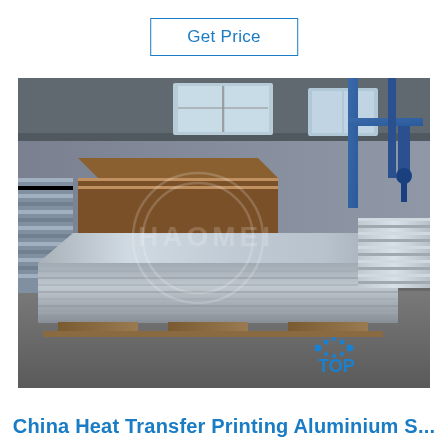Get Price
[Figure (photo): Stacks of aluminium sheets/plates stored in a large industrial warehouse facility. Multiple large silver metallic aluminum slabs are stacked on wooden pallets on a concrete floor. Industrial overhead crane equipment visible in background. Watermark text visible across image.]
China Heat Transfer Printing Aluminium S...